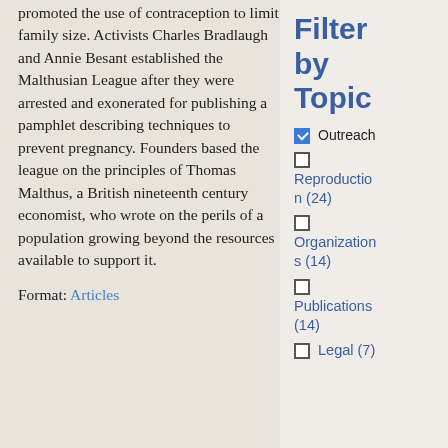promoted the use of contraception to limit family size. Activists Charles Bradlaugh and Annie Besant established the Malthusian League after they were arrested and exonerated for publishing a pamphlet describing techniques to prevent pregnancy. Founders based the league on the principles of Thomas Malthus, a British nineteenth century economist, who wrote on the perils of a population growing beyond the resources available to support it.
Format: Articles
Filter by Topic
Outreach
Reproduction (24)
Organizations (14)
Publications (14)
Legal (7)